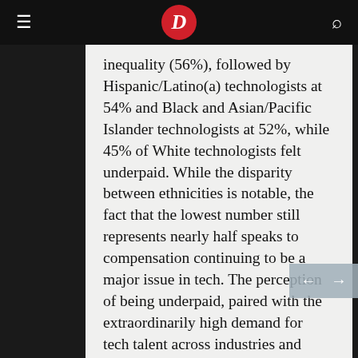D (Dice logo)
inequality (56%), followed by Hispanic/Latino(a) technologists at 54% and Black and Asian/Pacific Islander technologists at 52%, while 45% of White technologists felt underpaid. While the disparity between ethnicities is notable, the fact that the lowest number still represents nearly half speaks to compensation continuing to be a major issue in tech. The perception of being underpaid, paired with the extraordinarily high demand for tech talent across industries and verticals, is only fueling technologists' openness to new opportunities (read more on this in How Career Perception Differs by Race). However, when it comes to negotiating